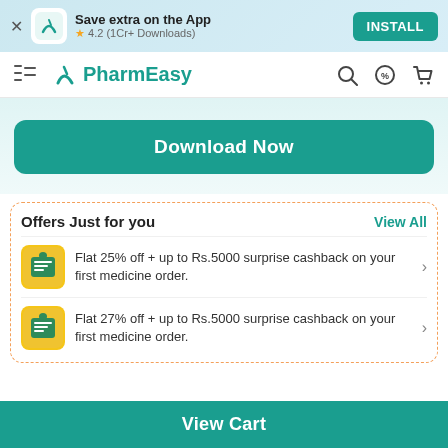Save extra on the App — ★ 4.2 (1Cr+ Downloads) — INSTALL
PharmEasy
[Figure (screenshot): Download Now button — teal rounded rectangle]
Offers Just for you
View All
Flat 25% off + up to Rs.5000 surprise cashback on your first medicine order.
Flat 27% off + up to Rs.5000 surprise cashback on your first medicine order.
View Cart